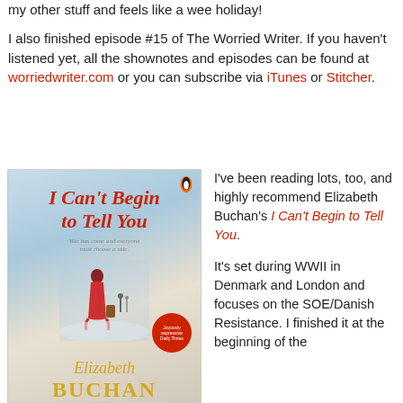my other stuff and feels like a wee holiday!
I also finished episode #15 of The Worried Writer. If you haven't listened yet, all the shownotes and episodes can be found at worriedwriter.com or you can subscribe via iTunes or Stitcher.
[Figure (photo): Book cover of 'I Can't Begin to Tell You' by Elizabeth Buchan, published by Penguin. Features a woman in a red coat walking with luggage, set against a misty train station background. Tagline: 'War has come and everyone must choose a side.']
I've been reading lots, too, and highly recommend Elizabeth Buchan's I Can't Begin to Tell You.
It's set during WWII in Denmark and London and focuses on the SOE/Danish Resistance. I finished it at the beginning of the